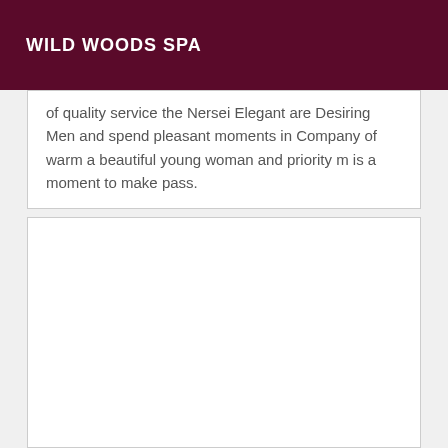WILD WOODS SPA
of quality service the Nersei Elegant are Desiring Men and spend pleasant moments in Company of warm a beautiful young woman and priority m is a moment to make pass.
[Figure (other): Empty white box placeholder content area]